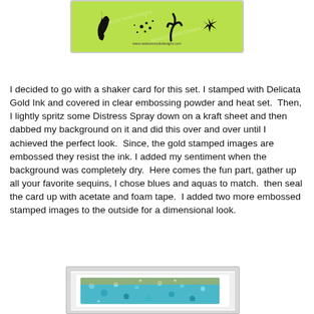[Figure (photo): A rubber stamp product image on a lime green background showing black silhouette sea/nature images (seaweed, starfish, dots) with watermark text and website www.newtonsnookdesigns.com at the bottom]
I decided to go with a shaker card for this set. I stamped with Delicata Gold Ink and covered in clear embossing powder and heat set.  Then, I lightly spritz some Distress Spray down on a kraft sheet and then dabbed my background on it and did this over and over until I achieved the perfect look.  Since, the gold stamped images are embossed they resist the ink. I added my sentiment when the background was completely dry.  Here comes the fun part, gather up all your favorite sequins, I chose blues and aquas to match.  then seal the card up with acetate and foam tape.  I added two more embossed stamped images to the outside for a dimensional look.
[Figure (photo): A handmade shaker card showing blue and aqua sequins inside with gold embossed stamp images, mounted on a white card base with gray shadow]